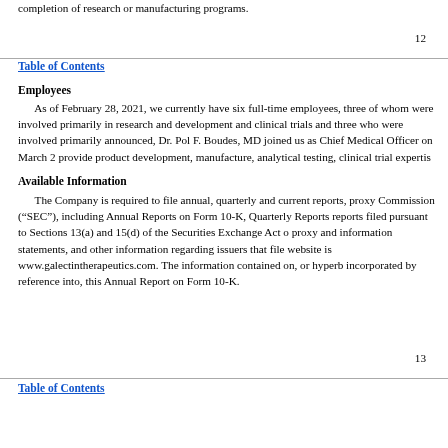completion of research or manufacturing programs.
12
Table of Contents
Employees
As of February 28, 2021, we currently have six full-time employees, three of whom were involved primarily in research and development and clinical trials and three who were involved primarily in announced, Dr. Pol F. Boudes, MD joined us as Chief Medical Officer on March 2 provide product development, manufacture, analytical testing, clinical trial expertis
Available Information
The Company is required to file annual, quarterly and current reports, proxy Commission (“SEC”), including Annual Reports on Form 10-K, Quarterly Reports reports filed pursuant to Sections 13(a) and 15(d) of the Securities Exchange Act o proxy and information statements, and other information regarding issuers that file website is www.galectintherapeutics.com. The information contained on, or hyperb incorporated by reference into, this Annual Report on Form 10-K.
13
Table of Contents